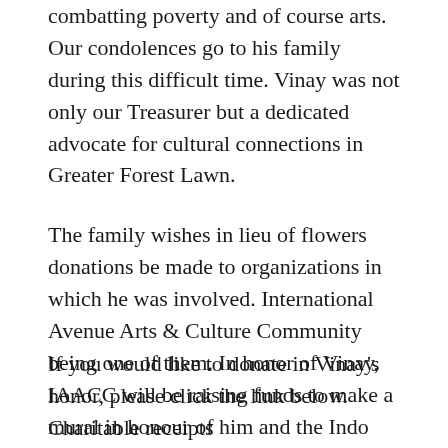combatting poverty and of course arts. Our condolences go to his family during this difficult time. Vinay was not only our Treasurer but a dedicated advocate for cultural connections in Greater Forest Lawn.
The family wishes in lieu of flowers donations be made to organizations in which he was involved. International Avenue Arts & Culture Community being one of them. In honor of Vinay, IAACC will be raising funds to make a mural in honour of him and the Indo Canadian Community..
If you would like to donate in Vinay's honor, please click the link below. Charitable receipts